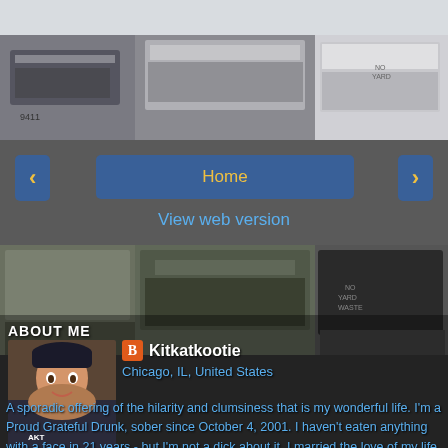[Figure (photo): Background collage of dumpster/recycling bin photographs arranged in a grid]
Home
View web version
ABOUT ME
Kitkatkootie
Chicago, IL, United States
A sporadic offering of the hilarity and clumsiness that is my wonderful life. I'm a Proud Grateful Drunk, sober since October 4, 2001. I haven't eaten anything with a face in 21 years - but I'm not a dick about it. I married the love of my life when after a long search we found each other - again. I am an animal rights activist and tend to be a Man Repeller. Coffee is now the ONLY VICE I HAVE LEFT. No alcohol and doing my best to stay quit with the smokes. These fucking babies better be worth it. God Dammit. The blog is called I want a Dumpster baby because my husband and I tried to have a baby and didn't have much luck. Let's just say it's been a challenge. I love rescue animals and I would love rescue baby the same way. Also actively shopping a find...